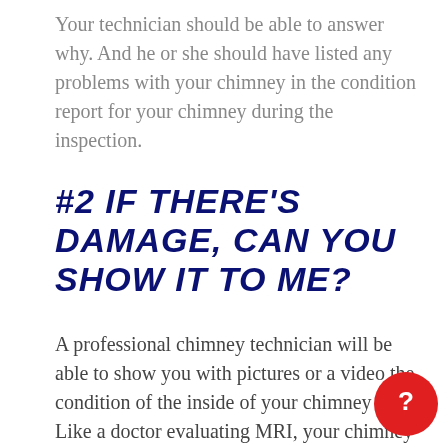Your technician should be able to answer why. And he or she should have listed any problems with your chimney in the condition report for your chimney during the inspection.
#2 If There's Damage, Can You Show It To Me?
A professional chimney technician will be able to show you with pictures or a video the condition of the inside of your chimney flue. Like a doctor evaluating MRI, your chimney technician will be able to point out any deficiencies in your flue.